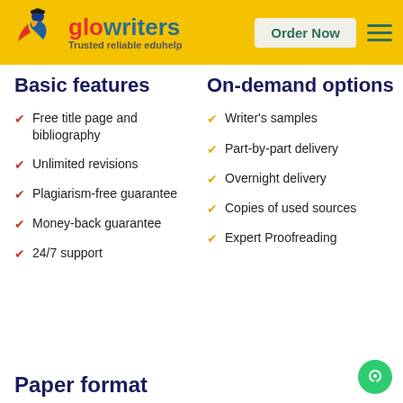[Figure (logo): GloWriters logo with dancer figure, red and blue colors, tagline: Trusted reliable eduhelp]
Basic features
On-demand options
Free title page and bibliography
Unlimited revisions
Plagiarism-free guarantee
Money-back guarantee
24/7 support
Writer's samples
Part-by-part delivery
Overnight delivery
Copies of used sources
Expert Proofreading
Paper format